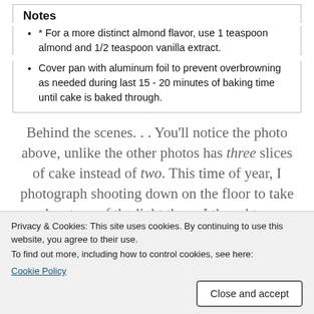Notes
* For a more distinct almond flavor, use 1 teaspoon almond and 1/2 teaspoon vanilla extract.
Cover pan with aluminum foil to prevent overbrowning as needed during last 15 - 20 minutes of baking time until cake is baked through.
Behind the scenes. . . You'll notice the photo above, unlike the other photos has three slices of cake instead of two. This time of year, I photograph shooting down on the floor to take advantage of the light there. I thought my husband was on dog duty when I turned around to upload my photos
Privacy & Cookies: This site uses cookies. By continuing to use this website, you agree to their use.
To find out more, including how to control cookies, see here:
Cookie Policy
[Figure (photo): Bottom strip showing edge of a photograph]